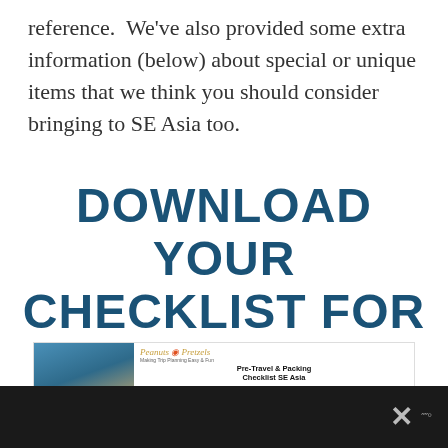reference.  We've also provided some extra information (below) about special or unique items that we think you should consider bringing to SE Asia too.
DOWNLOAD YOUR CHECKLIST FOR FREE
[Figure (illustration): Preview of the Peanuts & Pretzels Pre-Travel & Packing Checklist SE Asia document, showing a travel photo on the left and checklist columns for Important Documents & Necessities and Day Pack & Carry On Bag on the right, with the Peanuts & Pretzels logo and tagline 'Making Trip Planning Easy & Fun'.]
[Figure (other): Bottom dark bar with a close/X button and a weather icon, partially overlaying the checklist preview.]